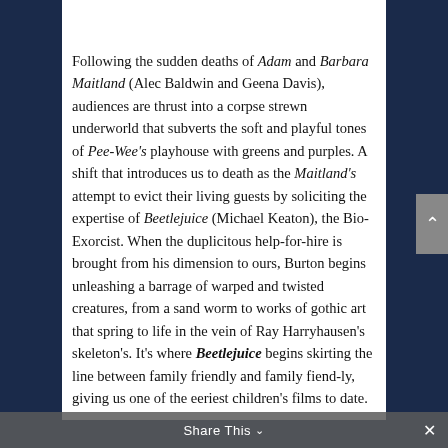Following the sudden deaths of Adam and Barbara Maitland (Alec Baldwin and Geena Davis), audiences are thrust into a corpse strewn underworld that subverts the soft and playful tones of Pee-Wee's playhouse with greens and purples. A shift that introduces us to death as the Maitland's attempt to evict their living guests by soliciting the expertise of Beetlejuice (Michael Keaton), the Bio-Exorcist. When the duplicitous help-for-hire is brought from his dimension to ours, Burton begins unleashing a barrage of warped and twisted creatures, from a sand worm to works of gothic art that spring to life in the vein of Ray Harryhausen's skeleton's. It's where Beetlejuice begins skirting the line between family friendly and family fiend-ly, giving us one of the eeriest children's films to date.
Share This ∨     ×